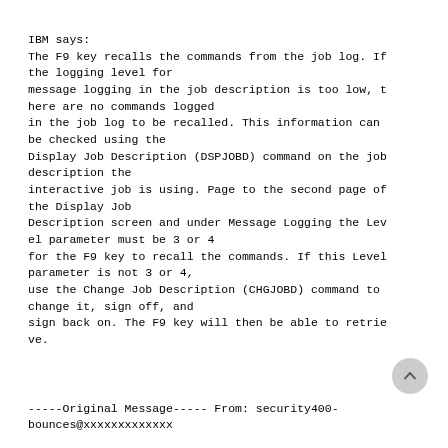IBM says:
The F9 key recalls the commands from the job log. If the logging level for
message logging in the job description is too low, there are no commands logged
in the job log to be recalled. This information can be checked using the
Display Job Description (DSPJOBD) command on the job description the
interactive job is using. Page to the second page of the Display Job
Description screen and under Message Logging the Level parameter must be 3 or 4
for the F9 key to recall the commands. If this Level parameter is not 3 or 4,
use the Change Job Description (CHGJOBD) command to change it, sign off, and
sign back on. The F9 key will then be able to retrieve.
-----Original Message-----
From: security400-bounces@xxxxxxxxxxxxx